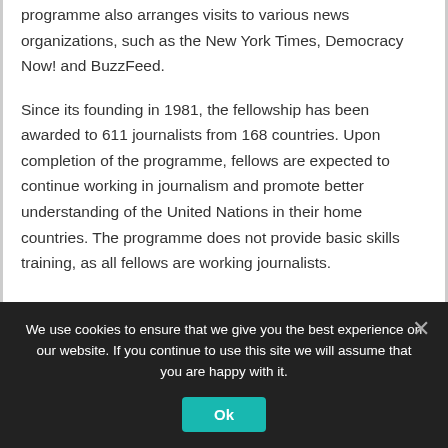programme also arranges visits to various news organizations, such as the New York Times, Democracy Now! and BuzzFeed.

Since its founding in 1981, the fellowship has been awarded to 611 journalists from 168 countries. Upon completion of the programme, fellows are expected to continue working in journalism and promote better understanding of the United Nations in their home countries. The programme does not provide basic skills training, as all fellows are working journalists.
We use cookies to ensure that we give you the best experience on our website. If you continue to use this site we will assume that you are happy with it.